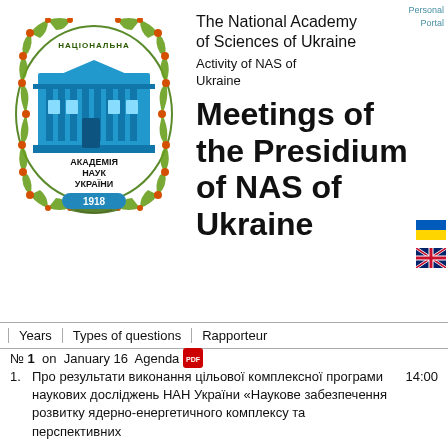[Figure (logo): National Academy of Sciences of Ukraine emblem with laurel wreath, building, and text АКАДЕМІЯ НАУК УКРАЇНИ 1918]
Personal Portal
The National Academy of Sciences of Ukraine
Activity of NAS of Ukraine
Meetings of the Presidium of NAS of Ukraine
[Figure (illustration): Ukrainian flag (blue and yellow)]
[Figure (illustration): UK/English flag]
Years | Types of questions | Rapporteur
№ 1  on  January 16  Agenda
1. Про результати виконання цільової комплексної програми наукових досліджень НАН України «Наукове забезпечення розвитку ядерно-енергетичного комплексу та перспективних   14:00